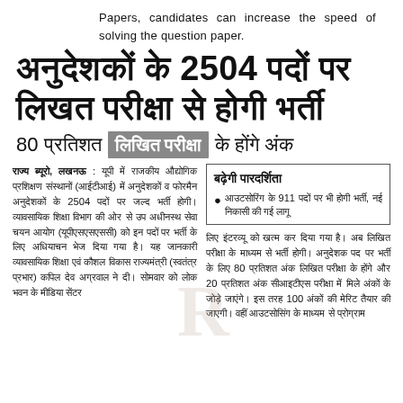Papers, candidates can increase the speed of solving the question paper.
अनुदेशकों के 2504 पदों पर लिखत परीक्षा से होगी भर्ती
80 प्रतिशत लिखित परीक्षा के होंगे अंक
राज्य ब्यूरो, लखनऊ : यूपी में राजकीय औद्योगिक प्रशिक्षण संस्थानों (आईटीआई) में अनुदेशकों व फोरमैन अनुदेशकों के 2504 पदों पर जल्द भर्ती होगी। व्यावसायिक शिक्षा विभाग की ओर से उप अधीनस्थ सेवा चयन आयोग (यूपीएसएसएससी) को इन पदों पर भर्ती के लिए अधियाचन भेज दिया गया है। यह जानकारी व्यावसायिक शिक्षा एवं कौशल विकास राज्यमंत्री (स्वतंत्र प्रभार) कपिल देव अग्रवाल ने दी। सोमवार को लोक भवन के मीडिया सेंटर
बढ़ेगी पारदर्शिता
आउटसोरिंग के 911 पदों पर भी होगी भर्ती, नई निकासी की गई लागू
लिए इंटरव्यू को खत्म कर दिया गया है। अब लिखित परीक्षा के माध्यम से भर्ती होगी। अनुदेशक पद पर भर्ती के लिए 80 प्रतिशत अंक लिखित परीक्षा के होंगे और 20 प्रतिशत अंक सीआइटीएस परीक्षा में मिले अंकों के जोड़े जाएंगे। इस तरह 100 अंकों की मेरिट तैयार की जाएगी। वहीं आउटसोसिंग के माध्यम से प्रोग्राम